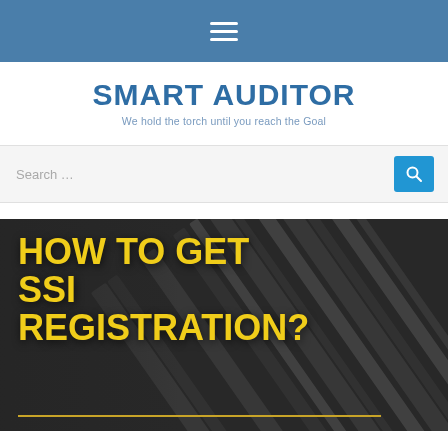≡ (hamburger menu)
SMART AUDITOR
We hold the torch until you reach the Goal
Search …
[Figure (infographic): Dark background image with diagonal lines/arrows (financial documents) with large yellow bold text overlay reading HOW TO GET SSI REGISTRATION? and a gold horizontal rule at the bottom.]